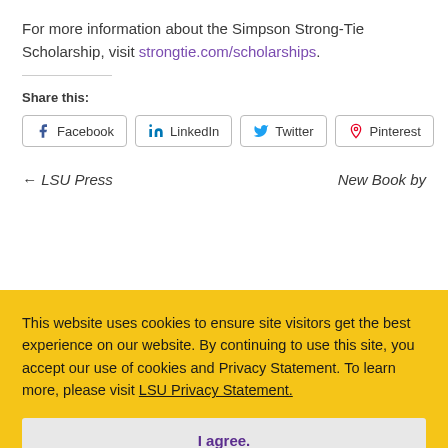For more information about the Simpson Strong-Tie Scholarship, visit strongtie.com/scholarships.
Share this:
[Figure (other): Social share buttons: Facebook, LinkedIn, Twitter, Pinterest]
This website uses cookies to ensure site visitors get the best experience on our website. By continuing to use this site, you accept our use of cookies and Privacy Statement. To learn more, please visit LSU Privacy Statement.
I agree.